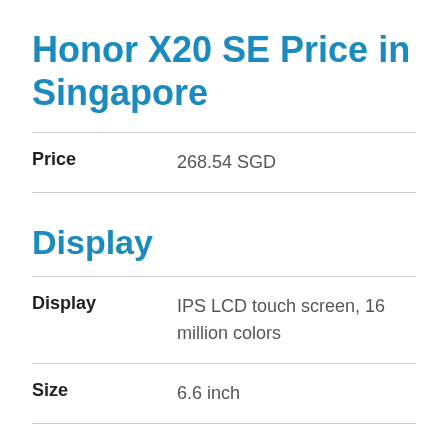Honor X20 SE Price in Singapore
| Attribute | Value |
| --- | --- |
| Price | 268.54 SGD |
Display
| Attribute | Value |
| --- | --- |
| Display | IPS LCD touch screen, 16 million colors |
| Size | 6.6 inch |